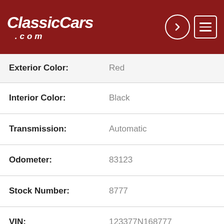ClassicCars.com
| Field | Value |
| --- | --- |
| Exterior Color: | Red |
| Interior Color: | Black |
| Transmission: | Automatic |
| Odometer: | 83123 |
| Stock Number: | 8777 |
| VIN: | 123377N168777 |